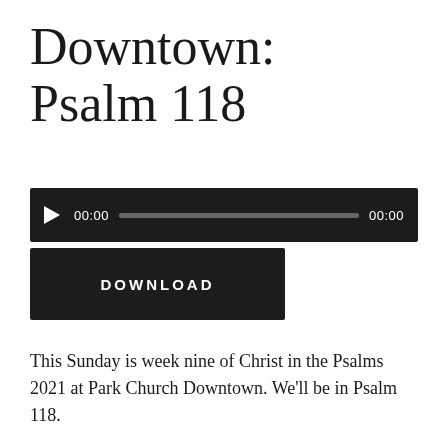Downtown: Psalm 118
[Figure (other): Audio player widget with play button, current time 00:00, progress bar, and total time 00:00 on dark background]
[Figure (other): Download button — dark rectangle with white uppercase text DOWNLOAD]
This Sunday is week nine of Christ in the Psalms 2021 at Park Church Downtown. We'll be in Psalm 118.